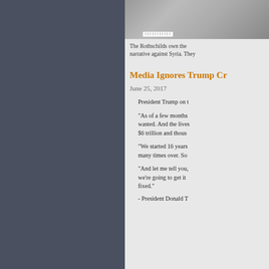[Figure (photo): Partial photo showing a figure, with a barcode label overlay at the bottom]
The Rothschilds own the narrative against Syria. They
Media Ignores Trump Cr
June 25, 2017
President Trump on t
"As of a few months wasted. And the lives $6 trillion and thous
"We started 16 years many times over. So
"And let me tell you, we're going to get it fixed."
- President Donald T